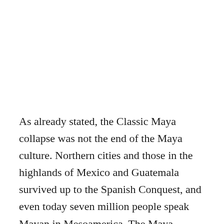As already stated, the Classic Maya collapse was not the end of the Maya culture. Northern cities and those in the highlands of Mexico and Guatemala survived up to the Spanish Conquest, and even today seven million people speak Mayan in Mesoamerica. The Maya culture suffered a terrible blow, but it did not disappear completely. In the power vacuum and general social upheaval left by the collapse, one group seized the